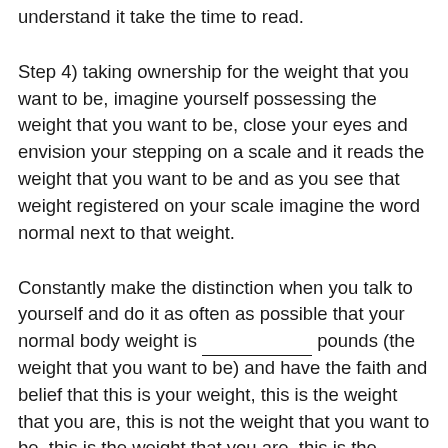understand it take the time to read.
Step 4) taking ownership for the weight that you want to be, imagine yourself possessing the weight that you want to be, close your eyes and envision your stepping on a scale and it reads the weight that you want to be and as you see that weight registered on your scale imagine the word normal next to that weight.
Constantly make the distinction when you talk to yourself and do it as often as possible that your normal body weight is __________ pounds (the weight that you want to be) and have the faith and belief that this is your weight, this is the weight that you are, this is not the weight that you want to be, this is the weight that you are, this is the weight of your being. The